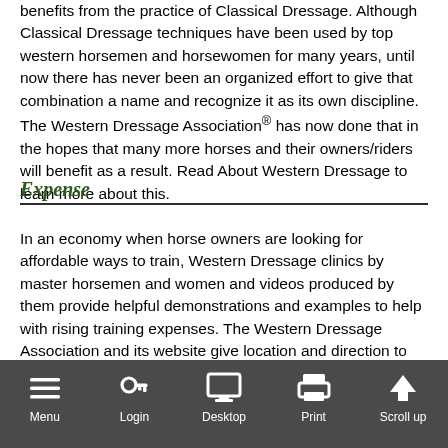benefits from the practice of Classical Dressage. Although Classical Dressage techniques have been used by top western horsemen and horsewomen for many years, until now there has never been an organized effort to give that combination a name and recognize it as its own discipline. The Western Dressage Association® has now done that in the hopes that many more horses and their owners/riders will benefit as a result. Read About Western Dressage to learn more about this.
Expense
In an economy when horse owners are looking for affordable ways to train, Western Dressage clinics by master horsemen and women and videos produced by them provide helpful demonstrations and examples to help with rising training expenses. The Western Dressage Association and its website give location and direction to these efforts, enabling people in many different locations around the world to learn from these aids.
[Figure (other): Mobile browser toolbar with icons for Menu, Login, Desktop, Print, and Scroll up]